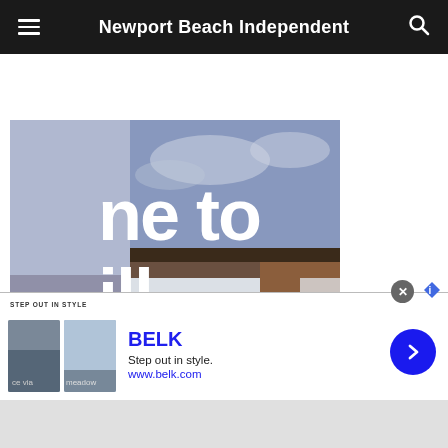Newport Beach Independent
[Figure (photo): Photo of a building with large white bold text overlay reading 'ne to ill' (partial text visible), showing sky background and brick/roof structure]
[Figure (screenshot): Advertisement banner for BELK — 'STEP OUT IN STYLE / BELK / Step out in style. / www.belk.com' with two thumbnail images and a blue forward arrow button]